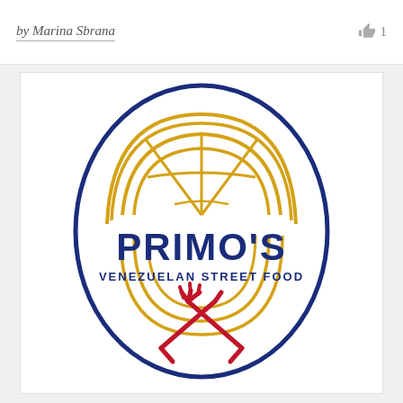by Marina Sbrana
👍 1
[Figure (logo): Primo's Venezuelan Street Food logo: a navy blue oval border containing a golden empanada/arepa illustration at top with globe-like design, the text PRIMO'S in large navy bold letters, VENEZUELAN STREET FOOD in navy caps below, and a red crossed knife and fork at the bottom, with golden concentric arc lines in the lower half.]